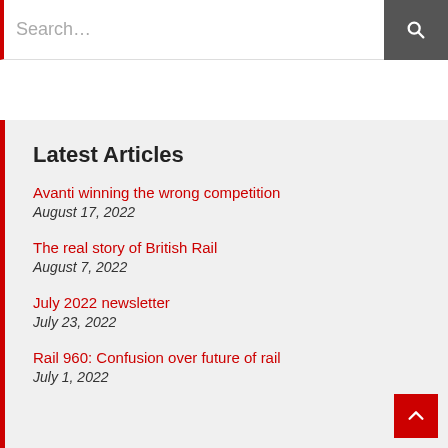Search...
Latest Articles
Avanti winning the wrong competition
August 17, 2022
The real story of British Rail
August 7, 2022
July 2022 newsletter
July 23, 2022
Rail 960: Confusion over future of rail
July 1, 2022